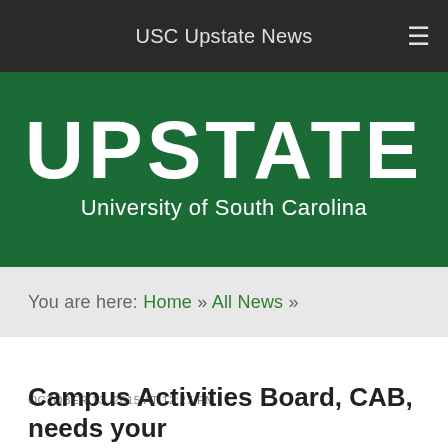USC Upstate News
[Figure (logo): UPSTATE University of South Carolina logo, white text on dark green background]
You are here: Home » All News »
OCTOBER 13, 2015 AT 12:27 PM
Campus Activities Board, CAB, needs your